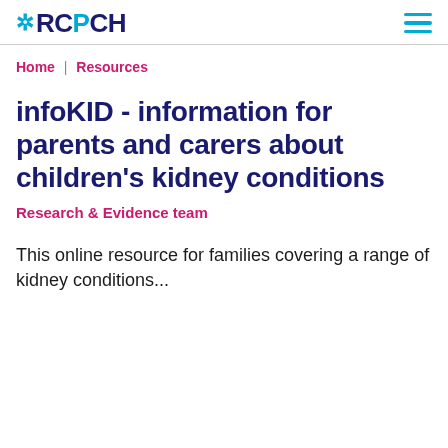RCPCH
Home | Resources
infoKID - information for parents and carers about children's kidney conditions
Research & Evidence team
This online resource for families covering a range of kidney conditions...